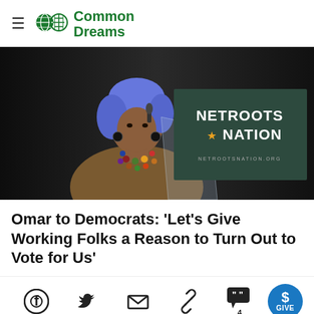Common Dreams
[Figure (photo): A woman wearing a blue head covering and colorful beaded necklace speaks at a podium displaying the Netroots Nation logo (netrootsnation.org) against a dark background.]
Omar to Democrats: 'Let's Give Working Folks a Reason to Turn Out to Vote for Us'
[Figure (infographic): Social sharing bar with icons for Facebook, Twitter, email, link, comments (4), and a blue circular GIVE button.]